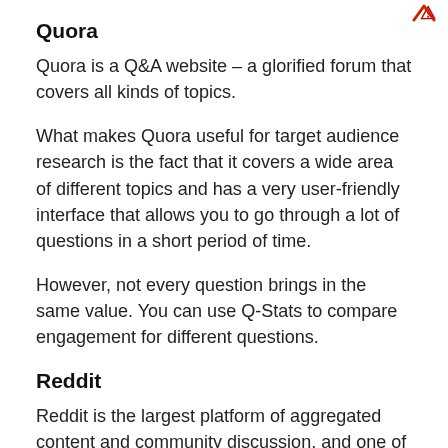Quora
Quora is a Q&A website – a glorified forum that covers all kinds of topics.
What makes Quora useful for target audience research is the fact that it covers a wide area of different topics and has a very user-friendly interface that allows you to go through a lot of questions in a short period of time.
However, not every question brings in the same value. You can use Q-Stats to compare engagement for different questions.
Reddit
Reddit is the largest platform of aggregated content and community discussion, and one of the top 10 largest